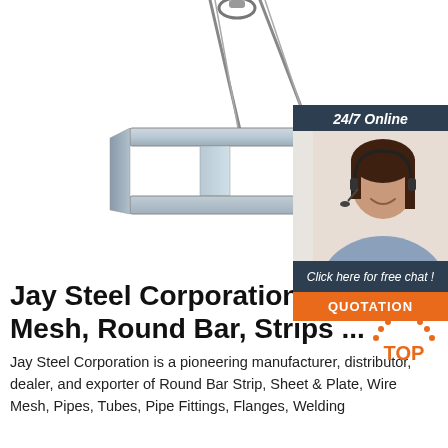[Figure (photo): Steel I-beam being lifted by wire ropes/slings against white background]
[Figure (infographic): 24/7 Online chat widget with a customer service representative wearing a headset, dark blue header, 'Click here for free chat!' text, and orange QUOTATION button]
Jay Steel Corporation – Mesh, Round Bar, Strips ...
Jay Steel Corporation is a pioneering manufacturer, distributor, dealer, and exporter of Round Bar Strip, Sheet & Plate, Wire Mesh, Pipes, Tubes, Pipe Fittings, Flanges, Welding
[Figure (logo): TOP logo - orange dot-outlined triangle with TOP text]